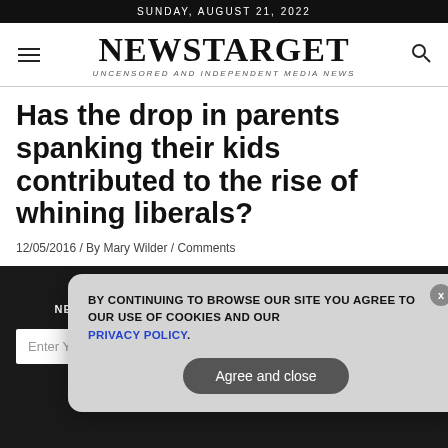SUNDAY, AUGUST 21, 2022
NEWSTARGET
UNCENSORED AND INDEPENDENT MEDIA NEWS
Has the drop in parents spanking their kids contributed to the rise of whining liberals?
12/05/2016 / By Mary Wilder / Comments
GET THE WORLD'S MOST INDEPENDENT MEDIA NEWSLETTER DELIVERED STRAIGHT TO YOUR INBOX.
BY CONTINUING TO BROWSE OUR SITE YOU AGREE TO OUR USE OF COOKIES AND OUR PRIVACY POLICY.